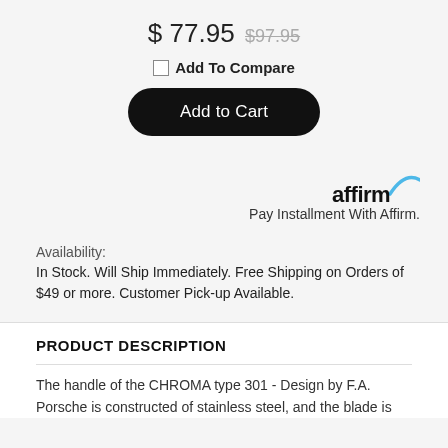$ 77.95  $97.95
Add To Compare
Add to Cart
[Figure (logo): Affirm logo with blue arc above text]
Pay Installment With Affirm.
Availability:
In Stock. Will Ship Immediately. Free Shipping on Orders of $49 or more. Customer Pick-up Available.
PRODUCT DESCRIPTION
The handle of the CHROMA type 301 - Design by F.A. Porsche is constructed of stainless steel, and the blade is